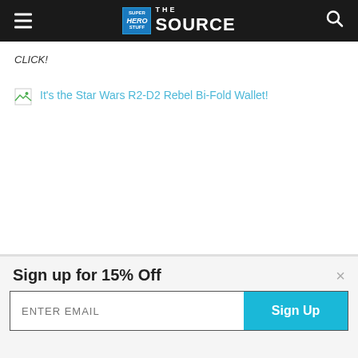Super Hero Stuff THE SOURCE
CLICK!
[Figure (screenshot): Broken image placeholder with link text: It's the Star Wars R2-D2 Rebel Bi-Fold Wallet!]
Sign up for 15% Off
ENTER EMAIL / Sign Up button